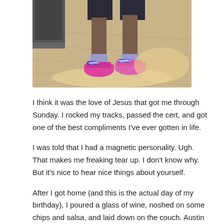[Figure (photo): Photo showing the lower legs and feet of a person wearing colorful athletic sneakers (pink/blue) and dark shorts, standing on a light wood floor. Exercise step equipment visible in background.]
I think it was the love of Jesus that got me through Sunday. I rocked my tracks, passed the cert, and got one of the best compliments I've ever gotten in life.
I was told that I had a magnetic personality. Ugh. That makes me freaking tear up. I don't know why. But it's nice to hear nice things about yourself.
After I got home (and this is the actual day of my birthday), I poured a glass of wine, noshed on some chips and salsa, and laid down on the couch. Austin came in, sweetie pie that he is, and dropped off some more wine, some kombucha, and a really sweet card for me. But the sweet thing was that he let